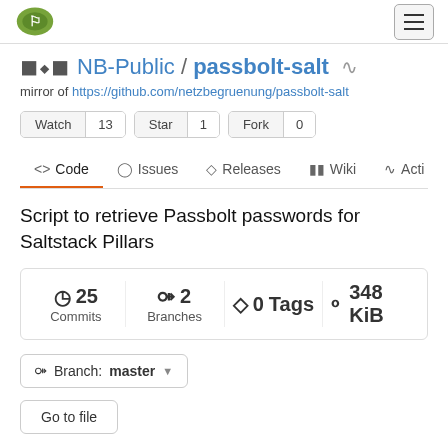[Figure (logo): Gitea green logo icon in top left nav bar]
NB-Public / passbolt-salt
mirror of https://github.com/netzbegruenung/passbolt-salt
Watch 13  Star 1  Fork 0
Code  Issues  Releases  Wiki  Acti
Script to retrieve Passbolt passwords for Saltstack Pillars
25 Commits  2 Branches  0 Tags  348 KiB
Branch: master
Go to file